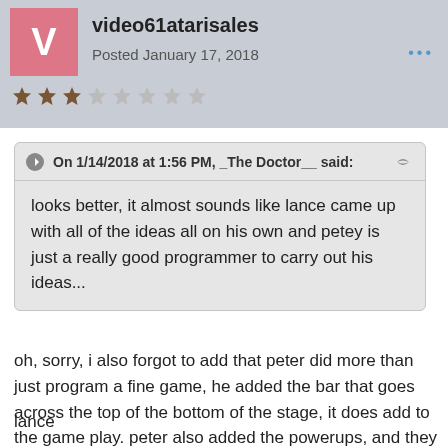video61atarisales
Posted January 17, 2018
On 1/14/2018 at 1:56 PM, _The Doctor__ said:

looks better, it almost sounds like lance came up with all of the ideas all on his own and petey is just a really good programmer to carry out his ideas...
oh, sorry, i also forgot to add that peter did more than just program a fine game, he added the bar that goes across the top of the bottom of the stage, it does add to the game play. peter also added the powerups, and they were good choices. over all. its a good game that the whole team contributed to.
lance